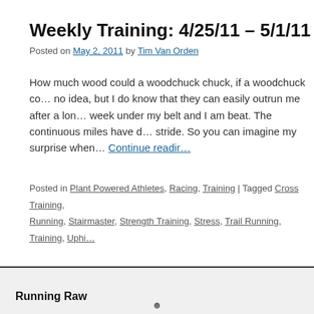Weekly Training: 4/25/11 – 5/1/11
Posted on May 2, 2011 by Tim Van Orden
How much wood could a woodchuck chuck, if a woodchuck co… no idea, but I do know that they can easily outrun me after a lon… week under my belt and I am beat. The continuous miles have d… stride. So you can imagine my surprise when… Continue readin…
Posted in Plant Powered Athletes, Racing, Training | Tagged Cross Training, Running, Stairmaster, Strength Training, Stress, Trail Running, Training, Uphi…
← Older posts
Running Raw